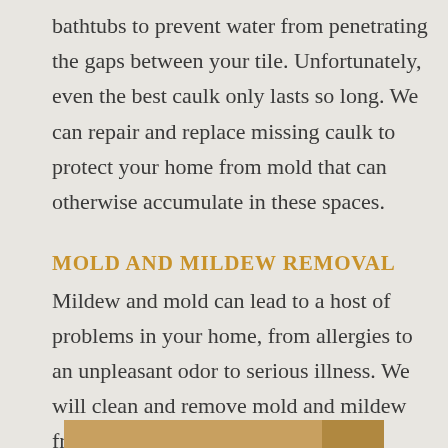bathtubs to prevent water from penetrating the gaps between your tile. Unfortunately, even the best caulk only lasts so long. We can repair and replace missing caulk to protect your home from mold that can otherwise accumulate in these spaces.
MOLD AND MILDEW REMOVAL
Mildew and mold can lead to a host of problems in your home, from allergies to an unpleasant odor to serious illness. We will clean and remove mold and mildew from your tile and grout for a fresher, healthier space.
[Figure (other): Partial view of a decorative bar or banner at the bottom of the page in golden/tan color]